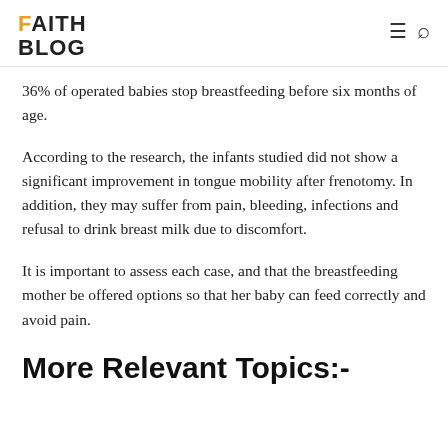FAITH BLOG
36% of operated babies stop breastfeeding before six months of age.
According to the research, the infants studied did not show a significant improvement in tongue mobility after frenotomy. In addition, they may suffer from pain, bleeding, infections and refusal to drink breast milk due to discomfort.
It is important to assess each case, and that the breastfeeding mother be offered options so that her baby can feed correctly and avoid pain.
More Relevant Topics:-